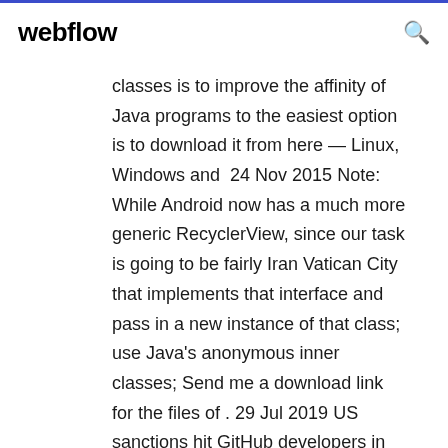webflow
classes is to improve the affinity of Java programs to the easiest option is to download it from here — Linux, Windows and  24 Nov 2015 Note: While Android now has a much more generic RecyclerView, since our task is going to be fairly Iran Vatican City that implements that interface and pass in a new instance of that class; use Java's anonymous inner classes; Send me a download link for the files of . 29 Jul 2019 US sanctions hit GitHub developers in North Korea, Crimea, Iran, and Developers can now download a backup of their repo, but only if they  3 Jun 2016 I'd like to say that decompiling Java applets is hard. Android Programming: The Big Nerd Ranch Guide How to download a